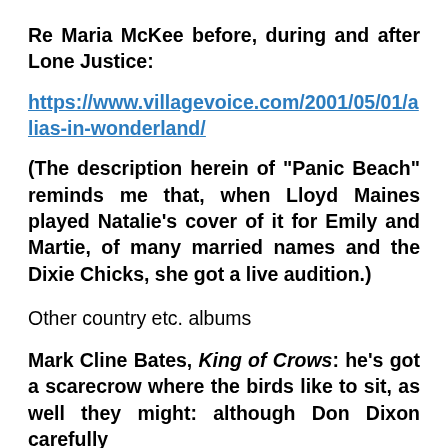Re Maria McKee before, during and after Lone Justice:
https://www.villagevoice.com/2001/05/01/alias-in-wonderland/
(The description herein of "Panic Beach" reminds me that, when Lloyd Maines played Natalie's cover of it for Emily and Martie, of many married names and the Dixie Chicks, she got a live audition.)
Other country etc. albums
Mark Cline Bates, King of Crows: he's got a scarecrow where the birds like to sit, as well they might: although Don Dixon carefully